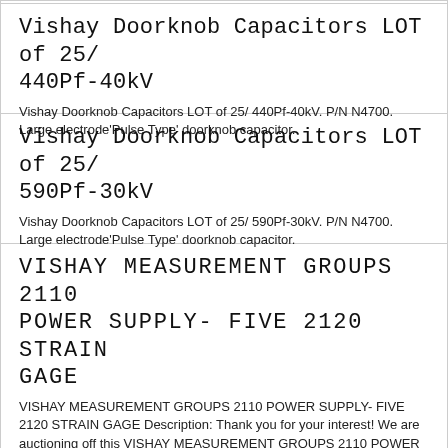Vishay Doorknob Capacitors LOT of 25/ 440Pf-40kV
Vishay Doorknob Capacitors LOT of 25/ 440Pf-40kV. P/N N4700. Large electrode'Pulse Type' doorknob capacitor.
Vishay Doorknob Capacitors LOT of 25/ 590Pf-30kV
Vishay Doorknob Capacitors LOT of 25/ 590Pf-30kV. P/N N4700. Large electrode'Pulse Type' doorknob capacitor.
VISHAY MEASUREMENT GROUPS 2110 POWER SUPPLY- FIVE 2120 STRAIN GAGE
VISHAY MEASUREMENT GROUPS 2110 POWER SUPPLY- FIVE 2120 STRAIN GAGE Description: Thank you for your interest! We are auctioning off this VISHAY MEASUREMENT GROUPS 2110 POWER SUPPLY- FIVE 2120 STRAIN GAGE. Acquired from government surplus. As you know with most government agencies. When a new grant comes in, they have to justify the grant by buying new equipment leaving very useful equipment for surplus. COMES AS SHOWN! Comes as shown. Powers up. And each module powers. USA CUSTOMERS- NO MEANS TO TEST. However will offer a 14 day guarantee to try it out